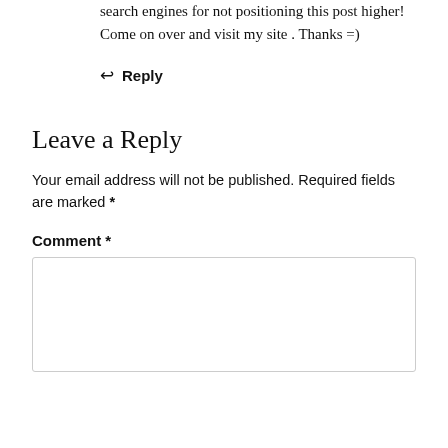search engines for not positioning this post higher! Come on over and visit my site . Thanks =)
↩ Reply
Leave a Reply
Your email address will not be published. Required fields are marked *
Comment *